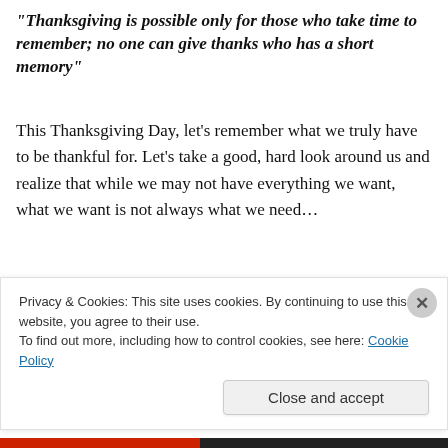“Thanksgiving is possible only for those who take time to remember; no one can give thanks who has a short memory”
This Thanksgiving Day, let’s remember what we truly have to be thankful for. Let’s take a good, hard look around us and realize that while we may not have everything we want, what we want is not always what we need…
“Gratitude is not only the greatest of virtues, but the
Privacy & Cookies: This site uses cookies. By continuing to use this website, you agree to their use.
To find out more, including how to control cookies, see here: Cookie Policy
Close and accept